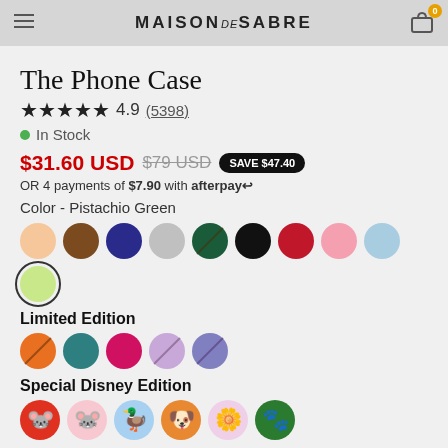MAISON de SABRE
The Phone Case
★★★★★ 4.9 (5398)
● In Stock
$31.60 USD  $79 USD  SAVE $47.40
OR 4 payments of $7.90 with afterpay↩
Color - Pistachio Green
[Figure (other): Color swatches: peach, brown, navy, grey, dark green (strikethrough), black, red, pink, light blue, pistachio green (selected)]
Limited Edition
[Figure (other): Limited Edition color swatches: orange (strikethrough), teal, hot pink, lavender (strikethrough), purple (strikethrough)]
Special Disney Edition
[Figure (other): Special Disney Edition swatches: Mickey Mouse, Minnie Mouse, Donald Duck, Goofy, Daisy Duck, Pluto]